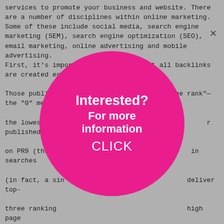services to promote your business and website. There are a number of disciplines within online marketing. Some of these include social media, search engine marketing (SEM), search engine optimization (SEO), email marketing, online advertising and mobile advertising.
First, it's important to know that not all backlinks are created equal. Those published on PR0 ("PR" stands for "page rank"—the "0" means the lowest va... r published on PR9 (the ... in searches (in fact, a sin... deliver top-three ranking... high page rank sites inc... Mashable, etc.
In February 2... ch penalizes websites con... nd sources. Historically w... nd benefited in s... ice. However Go... s sites whose conte... attempted to penalize web... ove their rankings on t... h has been presented as an algorithm aimed at fighting web spam, it really focuses
[Figure (other): Magenta/pink circle overlay popup with white bold text reading 'Interested? For more information CLICK' centered on the page]